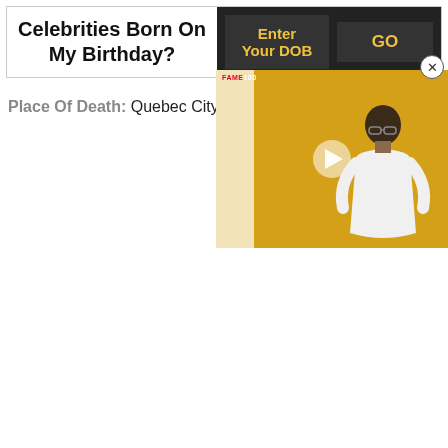Celebrities Born On My Birthday?
Place Of Death: Quebec City
[Figure (screenshot): Video thumbnail showing a woman in a white outfit against a yellow background with a play button overlay and a FAME100 logo watermark. A circular close button appears above the thumbnail.]